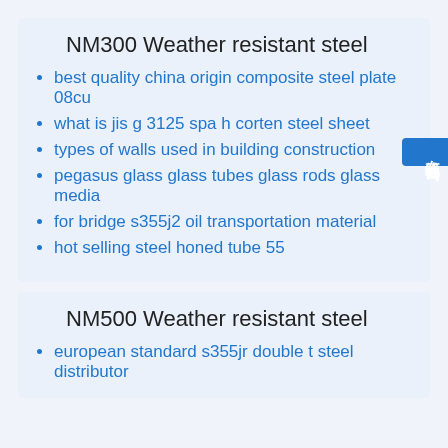NM300 Weather resistant steel
best quality china origin composite steel plate 08cu
what is jis g 3125 spa h corten steel sheet
types of walls used in building construction
pegasus glass glass tubes glass rods glass media
for bridge s355j2 oil transportation material
hot selling steel honed tube 55
NM500 Weather resistant steel
european standard s355jr double t steel distributor